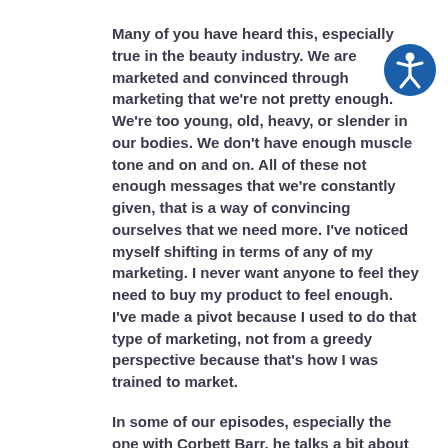Many of you have heard this, especially true in the beauty industry. We are marketed and convinced through marketing that we're not pretty enough. We're too young, old, heavy, or slender in our bodies. We don't have enough muscle tone and on and on. All of these not enough messages that we're constantly given, that is a way of convincing ourselves that we need more. I've noticed myself shifting in terms of any of my marketing. I never want anyone to feel they need to buy my product to feel enough. I've made a pivot because I used to do that type of marketing, not from a greedy perspective because that's how I was trained to market.
In some of our episodes, especially the one with Corbett Barr, he talks a bit about minimalism, especially digital housekeeping. One of the things that we touched upon in that episode, and in some others is how Jason and I have each gone through
[Figure (illustration): Accessibility icon: a blue circle with a white stick figure person with arms extended]